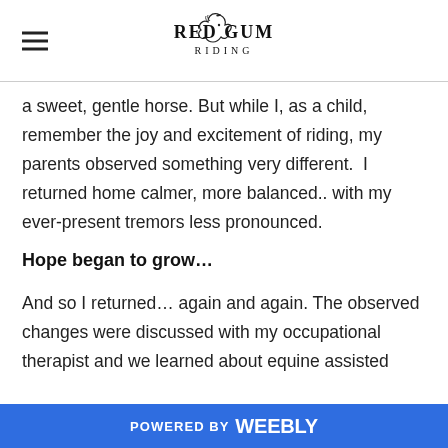Red Gum Riding
a sweet, gentle horse. But while I, as a child, remember the joy and excitement of riding, my parents observed something very different.  I returned home calmer, more balanced.. with my ever-present tremors less pronounced.
Hope began to grow…
And so I returned… again and again. The observed changes were discussed with my occupational therapist and we learned about equine assisted
POWERED BY weebly